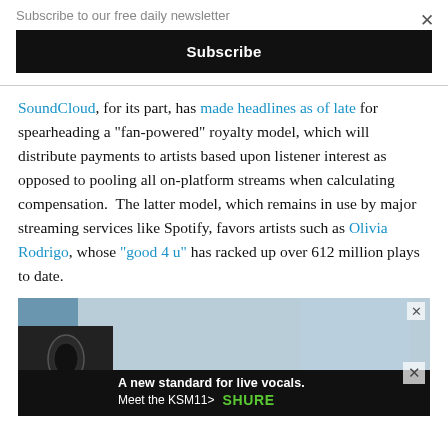Subscribe to our free daily newsletter
Subscribe
SoundCloud, for its part, has made headlines as of late for spearheading a “fan-powered” royalty model, which will distribute payments to artists based upon listener interest as opposed to pooling all on-platform streams when calculating compensation.  The latter model, which remains in use by major streaming services like Spotify, favors artists such as Olivia Rodrigo, whose “good 4 u” has racked up over 612 million plays to date.
[Figure (photo): Advertisement showing a Shure KSM11 microphone with text 'A new standard for live vocals. Meet the KSM11> SHURE' on a dark background banner.]